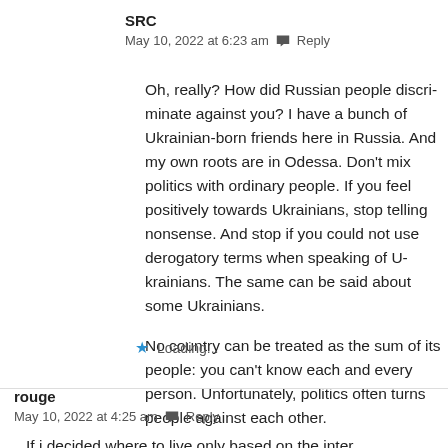SRC
May 10, 2022 at 6:23 am  Reply
Oh, really? How did Russian people discriminate against you? I have a bunch of Ukrainian-born friends here in Russia. And my own roots are in Odessa. Don't mix politics with ordinary people. If you feel positively towards Ukrainians, stop telling nonsense. And stop if you could not use derogatory terms when speaking of Ukrainians. The same can be said about some Ukrainians.
No country can be treated as the sum of its people: you can't know each and every person. Unfortunately, politics often turns people against each other.
Loading...
rouge
May 10, 2022 at 4:25 am  Reply
If i decided where to live only based on the inter...